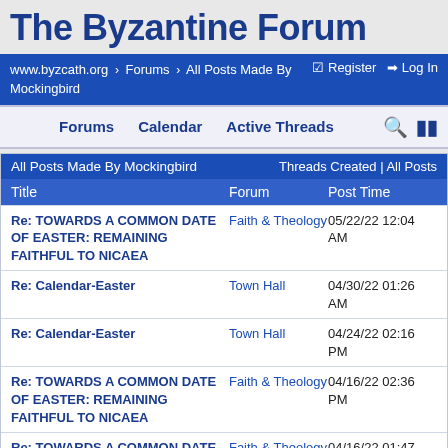The Byzantine Forum
www.byzcath.org > Forums > All Posts Made By Mockingbird   ☑ Register  ➡ Log In
Forums   Calendar   Active Threads
| All Posts Made By Mockingbird | Threads Created | All Posts | Title | Forum | Post Time |
| --- | --- | --- | --- | --- |
| Re: TOWARDS A COMMON DATE OF EASTER: REMAINING FAITHFUL TO NICAEA | Faith & Theology | 05/22/22 12:04 AM |
| Re: Calendar-Easter | Town Hall | 04/30/22 01:26 AM |
| Re: Calendar-Easter | Town Hall | 04/24/22 02:16 PM |
| Re: TOWARDS A COMMON DATE OF EASTER: REMAINING FAITHFUL TO NICAEA | Faith & Theology | 04/16/22 02:36 PM |
| Re: TOWARDS A COMMON DATE OF EASTER: REMAINING FAITHFUL | Faith & Theology | 04/16/22 01:47 PM |